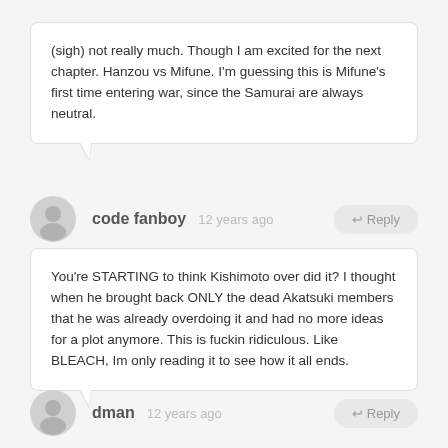(sigh) not really much. Though I am excited for the next chapter. Hanzou vs Mifune. I'm guessing this is Mifune's first time entering war, since the Samurai are always neutral.
code fanboy  12 years ago
You're STARTING to think Kishimoto over did it? I thought when he brought back ONLY the dead Akatsuki members that he was already overdoing it and had no more ideas for a plot anymore. This is fuckin ridiculous. Like BLEACH, Im only reading it to see how it all ends.
dman  12 years ago